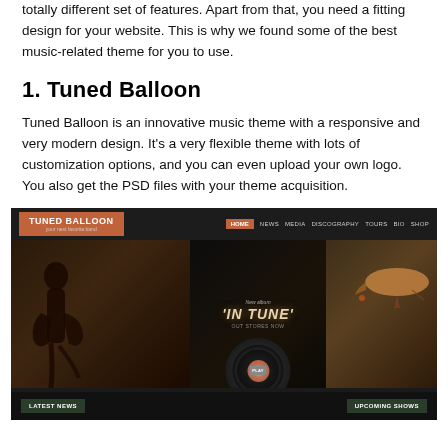totally different set of features. Apart from that, you need a fitting design for your website. This is why we found some of the best music-related theme for you to use.
1. Tuned Balloon
Tuned Balloon is an innovative music theme with a responsive and very modern design. It's a very flexible theme with lots of customization options, and you can even upload your own logo. You also get the PSD files with your theme acquisition.
[Figure (screenshot): Screenshot of Tuned Balloon music WordPress theme showing dark navigation bar with orange logo block, nav items (HOME, NEWS, MEDIA, DISCOGRAPHY, TOURS, BIO, SHOP), dark background with guitar silhouette on left, 'IN TUNE' album title in center, vinyl record with PLAY button, blimp on right, and LATEST NEWS / UPCOMING SHOWS buttons at bottom.]